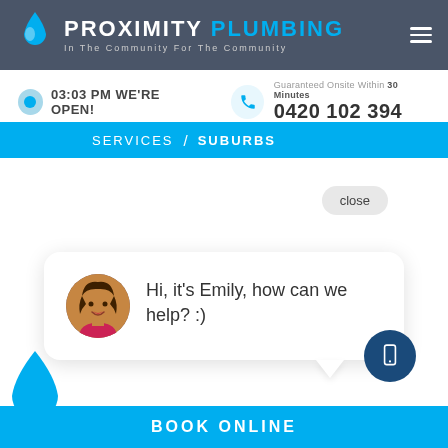[Figure (screenshot): Proximity Plumbing website header with blue water drop logo, company name 'PROXIMITY PLUMBING' with tagline 'In The Community For The Community' on dark gray background, hamburger menu icon]
03:03 PM WE'RE OPEN!
Guaranteed Onsite Within 30 Minutes
0420 102 394
SERVICES / SUBURBS
close
Hi, it's Emily, how can we help? :)
BOOK ONLINE